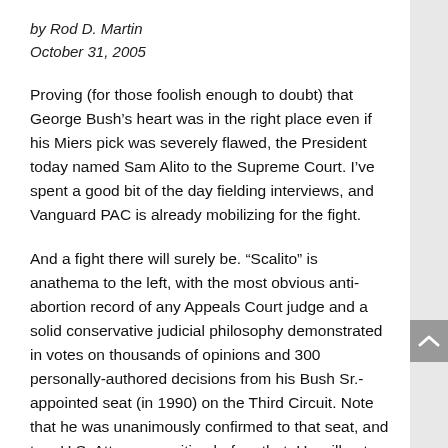by Rod D. Martin
October 31, 2005
Proving (for those foolish enough to doubt) that George Bush’s heart was in the right place even if his Miers pick was severely flawed, the President today named Sam Alito to the Supreme Court. I’ve spent a good bit of the day fielding interviews, and Vanguard PAC is already mobilizing for the fight.
And a fight there will surely be. “Scalito” is anathema to the left, with the most obvious anti-abortion record of any Appeals Court judge and a solid conservative judicial philosophy demonstrated in votes on thousands of opinions and 300 personally-authored decisions from his Bush Sr.-appointed seat (in 1990) on the Third Circuit. Note that he was unanimously confirmed to that seat, and to a U.S. Attorney position before that. He will not face similar treatment now.